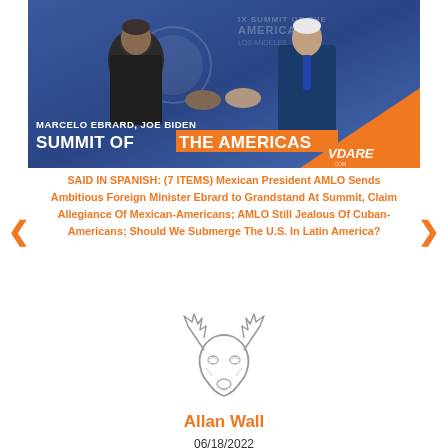[Figure (photo): Photo of Marcelo Ebrard and Joe Biden shaking hands at IX Summit of the Americas in Los Angeles, with text overlay reading 'MARCELO EBRARD, JOE BIDEN / SUMMIT OF THE AMERICAS' and VDARE logo on orange triangle]
SAID IN SPANISH: (7 ITEMS) Mexican President AMLO Sends Ambitious Foreign Minister Ebrard to Grandstand At Summit, Claim Allegiance Of Mexican-Americans; AMLO Still Jealous Of Cuban-Americans; Should We Submerge The U.S. In Latin America?
[Figure (logo): VDARE website deer/antelope logo outline illustration]
Allan Wall
06/18/2022